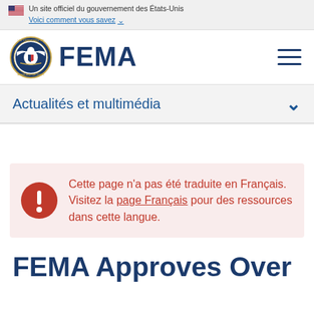Un site officiel du gouvernement des États-Unis
Voici comment vous savez
[Figure (logo): FEMA seal and FEMA wordmark logo with hamburger menu icon]
Actualités et multimédia
Cette page n'a pas été traduite en Français. Visitez la page Français pour des ressources dans cette langue.
FEMA Approves Over